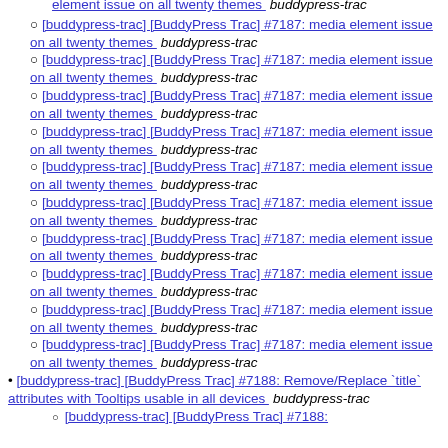[buddypress-trac] [BuddyPress Trac] #7187: media element issue on all twenty themes  buddypress-trac (partial, top cut off)
[buddypress-trac] [BuddyPress Trac] #7187: media element issue on all twenty themes  buddypress-trac
[buddypress-trac] [BuddyPress Trac] #7187: media element issue on all twenty themes  buddypress-trac
[buddypress-trac] [BuddyPress Trac] #7187: media element issue on all twenty themes  buddypress-trac
[buddypress-trac] [BuddyPress Trac] #7187: media element issue on all twenty themes  buddypress-trac
[buddypress-trac] [BuddyPress Trac] #7187: media element issue on all twenty themes  buddypress-trac
[buddypress-trac] [BuddyPress Trac] #7187: media element issue on all twenty themes  buddypress-trac
[buddypress-trac] [BuddyPress Trac] #7187: media element issue on all twenty themes  buddypress-trac
[buddypress-trac] [BuddyPress Trac] #7187: media element issue on all twenty themes  buddypress-trac
[buddypress-trac] [BuddyPress Trac] #7187: media element issue on all twenty themes  buddypress-trac
[buddypress-trac] [BuddyPress Trac] #7187: media element issue on all twenty themes  buddypress-trac
[buddypress-trac] [BuddyPress Trac] #7188: Remove/Replace `title` attributes with Tooltips usable in all devices  buddypress-trac
[buddypress-trac] [BuddyPress Trac] #7188: (partial, cut off at bottom)